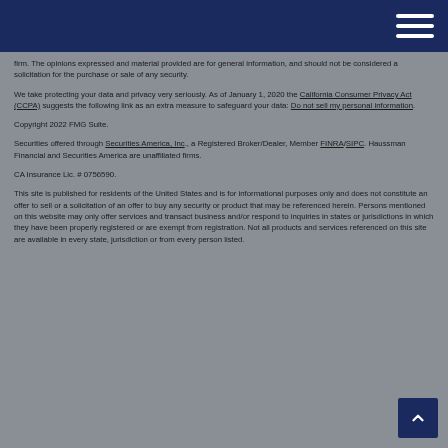Navigation bar with hamburger menu
firm. The opinions expressed and material provided are for general information, and should not be considered a solicitation for the purchase or sale of any security.
We take protecting your data and privacy very seriously. As of January 1, 2020 the California Consumer Privacy Act (CCPA) suggests the following link as an extra measure to safeguard your data: Do not sell my personal information.
Copyright 2022 FMG Suite.
Securities offered through Securities America, Inc., a Registered Broker/Dealer, Member FINRA/SIPC. Haussman Financial and Securities America are unaffiliated firms.
CA Insurance Lic. # 0756590.
This site is published for residents of the United States and is for informational purposes only and does not constitute an offer to sell or a solicitation of an offer to buy any security or product that may be referenced herein. Persons mentioned on this website may only offer services and transact business and/or respond to inquiries in states or jurisdictions in which they have been properly registered or are exempt from registration. Not all products and services referenced on this site are available in every state, jurisdiction or from every person listed.